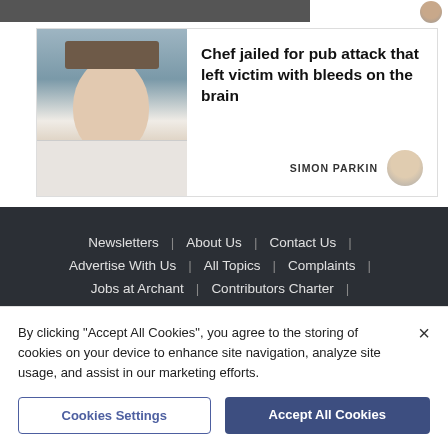[Figure (photo): Partial top strip showing a dark/action image and a small circular avatar on the right]
[Figure (photo): News article card with a mugshot photo of a young man in a white t-shirt on the left]
Chef jailed for pub attack that left victim with bleeds on the brain
SIMON PARKIN
Newsletters | About Us | Contact Us | Advertise With Us | All Topics | Complaints | Jobs at Archant | Contributors Charter |
By clicking "Accept All Cookies", you agree to the storing of cookies on your device to enhance site navigation, analyze site usage, and assist in our marketing efforts.